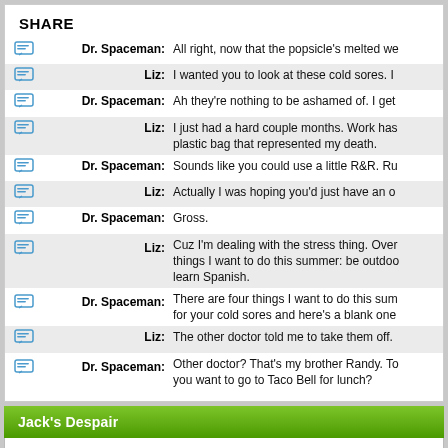SHARE
Dr. Spaceman: All right, now that the popsicle's melted we
Liz: I wanted you to look at these cold sores. I
Dr. Spaceman: Ah they're nothing to be ashamed of. I get
Liz: I just had a hard couple months. Work has... plastic bag that represented my death.
Dr. Spaceman: Sounds like you could use a little R&R. Ru
Liz: Actually I was hoping you'd just have an o
Dr. Spaceman: Gross.
Liz: Cuz I'm dealing with the stress thing. Over... things I want to do this summer: be outdoo... learn Spanish.
Dr. Spaceman: There are four things I want to do this sum... for your cold sores and here's a blank one
Liz: The other doctor told me to take them off.
Dr. Spaceman: Other doctor? That's my brother Randy. To... you want to go to Taco Bell for lunch?
Jack's Despair